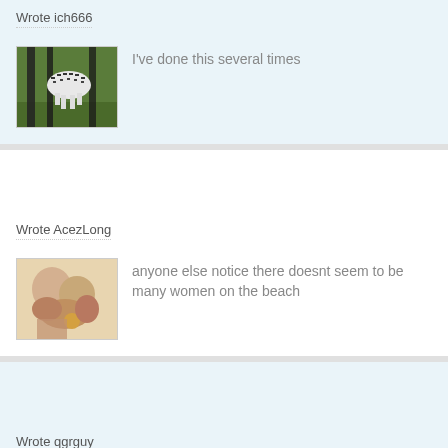Wrote ich666
[Figure (photo): A zebra-striped dog or animal standing in green grass among dark tree trunks]
I've done this several times
Wrote AcezLong
[Figure (photo): A painting or artwork depicting figures, appearing to be in an impressionist style with warm tones]
anyone else notice there doesnt seem to be many women on the beach
Wrote qgrguy
[Figure (photo): A dark-toned image, partially visible at bottom of page]